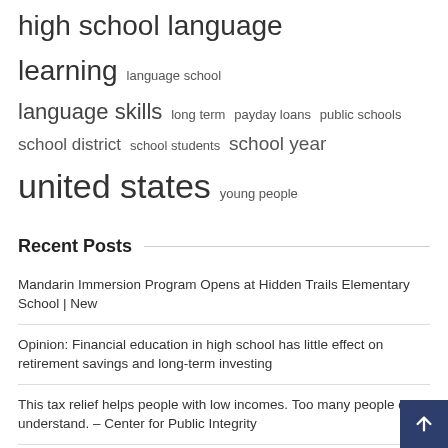high school language learning   language school   language skills   long term   payday loans   public schools   school district   school students   school year   united states   young people
Recent Posts
Mandarin Immersion Program Opens at Hidden Trails Elementary School | New
Opinion: Financial education in high school has little effect on retirement savings and long-term investing
This tax relief helps people with low incomes. Too many people don't understand. – Center for Public Integrity
Moving to Ghana? It is the Ghanaian language school that teaches black expatriates